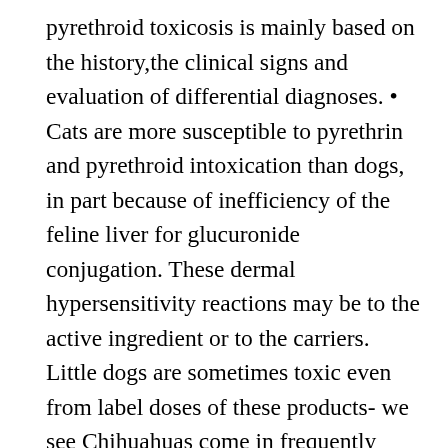pyrethroid toxicosis is mainly based on the history,the clinical signs and evaluation of differential diagnoses. • Cats are more susceptible to pyrethrin and pyrethroid intoxication than dogs, in part because of inefficiency of the feline liver for glucuronide conjugation. These dermal hypersensitivity reactions may be to the active ingredient or to the carriers. Little dogs are sometimes toxic even from label doses of these products- we see Chihuahuas come in frequently with tremors from pyrethroid toxicity at the label dose, though I have yet to see one so ill I was concerned for its life. The minimum toxic dose in pigs is 100 mg/kg. Permethrin is a man-